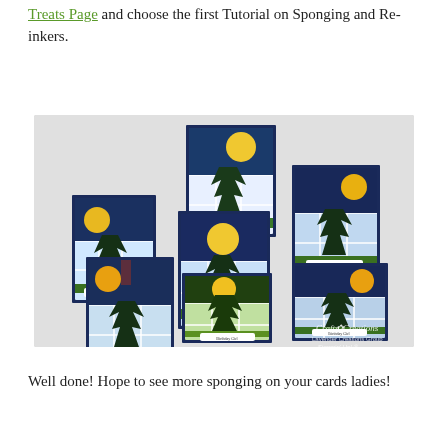Treats Page and choose the first Tutorial on Sponging and Re-inkers.
[Figure (photo): Photo showing six handmade greeting cards arranged on a white surface. Each card features a window panel design with a night or dusk scene including a pine tree and large full moon, created with sponging ink techniques. Cards show blue, green, and golden tones. A watermark reads 'Crafty Creations' in the lower right corner.]
Well done! Hope to see more sponging on your cards ladies!